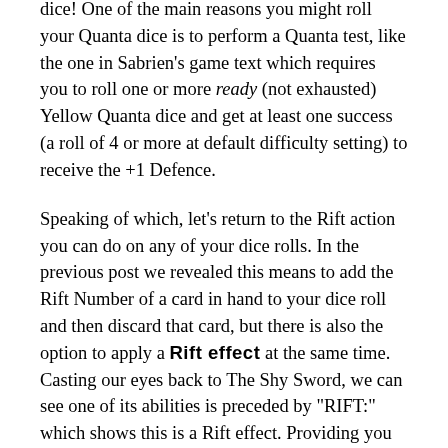dice! One of the main reasons you might roll your Quanta dice is to perform a Quanta test, like the one in Sabrien's game text which requires you to roll one or more ready (not exhausted) Yellow Quanta dice and get at least one success (a roll of 4 or more at default difficulty setting) to receive the +1 Defence.
Speaking of which, let's return to the Rift action you can do on any of your dice rolls. In the previous post we revealed this means to add the Rift Number of a card in hand to your dice roll and then discard that card, but there is also the option to apply a Rift effect at the same time. Casting our eyes back to The Shy Sword, we can see one of its abilities is preceded by "RIFT:" which shows this is a Rift effect. Providing you have just rolled one of your dice – whether that be for an Attack, a Quanta test or some other reason – you can Rift with The Shy Sword to benefit from its effect for no cost other than discarding it. Rest assured, there are ways to get it back...